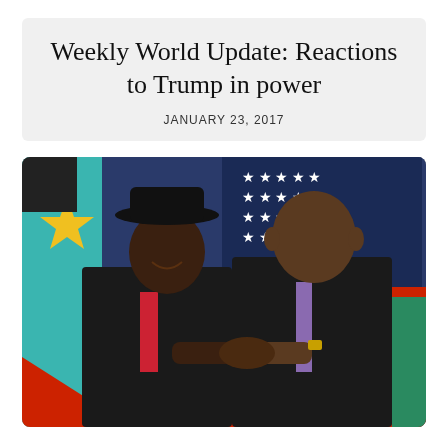Weekly World Update: Reactions to Trump in power
JANUARY 23, 2017
[Figure (photo): Two men in dark suits shaking hands in front of flags. The man on the left wears a black cowboy hat and red tie. The man on the right has a purple tie. Colorful flags including what appears to be the South Sudan flag and American flag are visible in the background.]